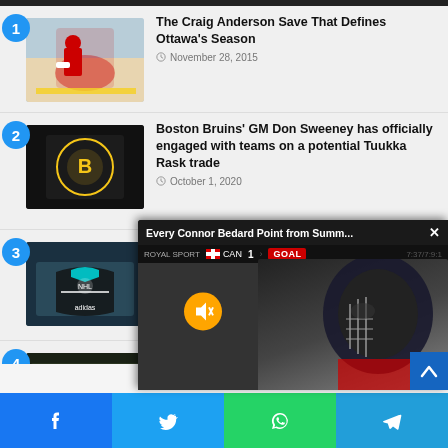1 - The Craig Anderson Save That Defines Ottawa's Season — November 28, 2015
2 - Boston Bruins' GM Don Sweeney has officially engaged with teams on a potential Tuukka Rask trade — October 1, 2020
3 - Checkout these Amazing Alternate Jerseys Designs for all 32 NHL Teams
4 - Tu... Wi... Exp... 20...
[Figure (screenshot): Video popup overlay: 'Every Connor Bedard Point from Summ...' with score bar showing CAN 1 GOAL, muted icon, and player in helmet]
[Figure (infographic): Bottom share bar with Facebook, Twitter, WhatsApp, and Telegram buttons]